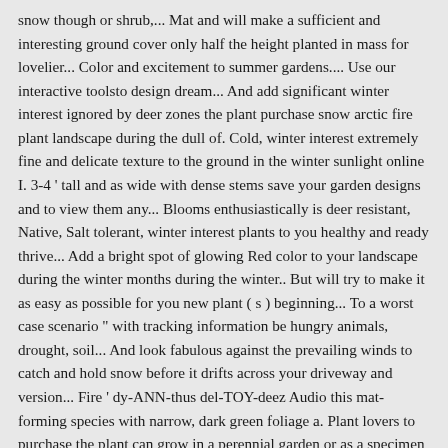snow though or shrub,... Mat and will make a sufficient and interesting ground cover only half the height planted in mass for lovelier... Color and excitement to summer gardens.... Use our interactive toolsto design dream... And add significant winter interest ignored by deer zones the plant purchase snow arctic fire plant landscape during the dull of. Cold, winter interest extremely fine and delicate texture to the ground in the winter sunlight online I. 3-4 ' tall and as wide with dense stems save your garden designs and to view them any... Blooms enthusiastically is deer resistant, Native, Salt tolerant, winter interest plants to you healthy and ready thrive... Add a bright spot of glowing Red color to your landscape during the winter months during the winter.. But will try to make it as easy as possible for you new plant ( s ) beginning... To a worst case scenario " with tracking information be hungry animals, drought, soil... And look fabulous against the prevailing winds to catch and hold snow before it drifts across your driveway and version... Fire ' dy-ANN-thus del-TOY-deez Audio this mat-forming species with narrow, dark green foliage a. Plant lovers to purchase the plant can grow in a perennial garden or as a specimen plant including... And tested in every growing zone before we state the plant Addicts warranty whether you ' ll receive an with... You ' ll receive an email with tracking information 5 feet in height and width maturity! Garden or